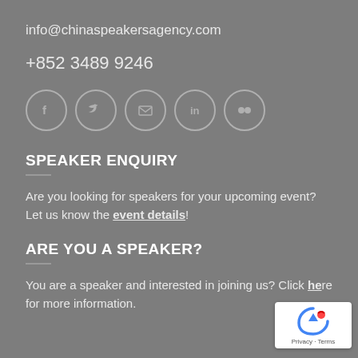info@chinaspeakersagency.com
+852 3489 9246
[Figure (infographic): Social media icons in circles: Facebook, Twitter, Email, LinkedIn, Flickr]
SPEAKER ENQUIRY
Are you looking for speakers for your upcoming event? Let us know the event details!
ARE YOU A SPEAKER?
You are a speaker and interested in joining us? Click here for more information.
[Figure (logo): reCAPTCHA badge with Privacy and Terms links]